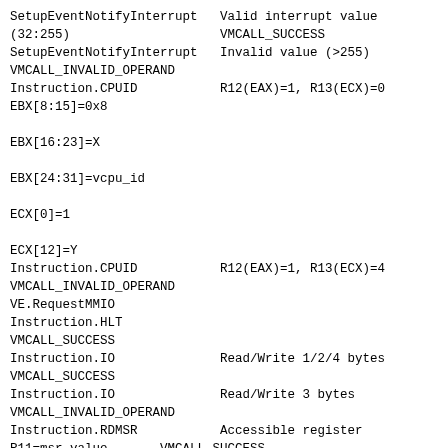SetupEventNotifyInterrupt   Valid interrupt value
(32:255)                    VMCALL_SUCCESS
SetupEventNotifyInterrupt   Invalid value (>255)
VMCALL_INVALID_OPERAND
Instruction.CPUID           R12(EAX)=1, R13(ECX)=0
EBX[8:15]=0x8

EBX[16:23]=X

EBX[24:31]=vcpu_id

ECX[0]=1

ECX[12]=Y
Instruction.CPUID           R12(EAX)=1, R13(ECX)=4
VMCALL_INVALID_OPERAND
VE.RequestMMIO
Instruction.HLT
VMCALL_SUCCESS
Instruction.IO              Read/Write 1/2/4 bytes
VMCALL_SUCCESS
Instruction.IO              Read/Write 3 bytes
VMCALL_INVALID_OPERAND
Instruction.RDMSR           Accessible register
R11=msr_value       VMCALL_SUCCESS
                            Inaccessible register
VMCALL_INVALID_OPERAND
Instruction.RDMSR           Accessible register
VMCALL_SUCCESS
                            Inaccessible register